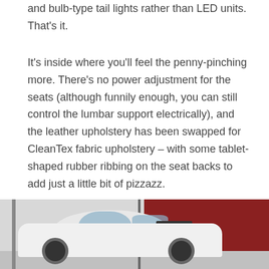and bulb-type tail lights rather than LED units. That's it.
It's inside where you'll feel the penny-pinching more. There's no power adjustment for the seats (although funnily enough, you can still control the lumbar support electrically), and the leather upholstery has been swapped for CleanTex fabric upholstery – with some tablet-shaped rubber ribbing on the seat backs to add just a little bit of pizzazz.
[Figure (photo): A white hatchback car (rear three-quarter view) parked in what appears to be a showroom or garage. The background shows a grey wall on the left and a dark red/burgundy wall on the right. A vertical pole is visible on the left side.]